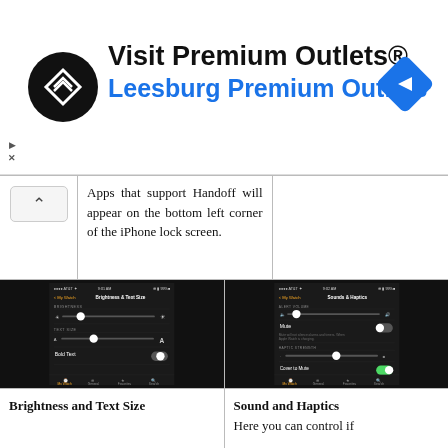[Figure (infographic): Advertisement banner for Premium Outlets - Visit Premium Outlets® Leesburg Premium Outlets with logo and navigation icon]
Apps that support Handoff will appear on the bottom left corner of the iPhone lock screen.
[Figure (screenshot): iPhone screenshot showing Apple Watch app - Brightness & Text Size settings screen with brightness slider, text size slider, and Bold Text toggle]
[Figure (screenshot): iPhone screenshot showing Apple Watch app - Sounds & Haptics settings screen with Alert Volume slider, Mute toggle, Haptic Strength slider, Cover to Mute toggle (green), and Prominent Haptic toggle (green)]
Brightness and Text Size
Sound and Haptics

Here you can control if